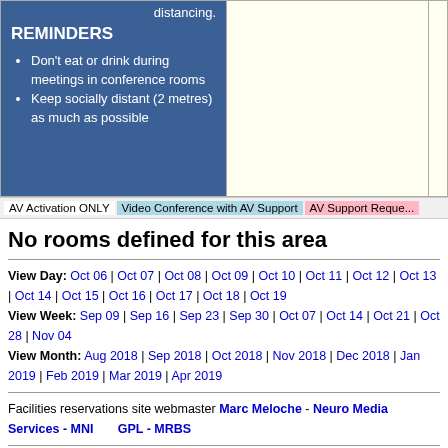distancing.
REMINDERS
Don't eat or drink during meetings in conference rooms
Keep socially distant (2 metres) as much as possible
AV Activation ONLY  Video Conference with AV Support  AV Support Reque...
No rooms defined for this area
View Day: Oct 06 | Oct 07 | Oct 08 | Oct 09 | Oct 10 | Oct 11 | Oct 12 | Oct 13 | Oct 14 | Oct 15 | Oct 16 | Oct 17 | Oct 18 | Oct 19
View Week: Sep 09 | Sep 16 | Sep 23 | Sep 30 | Oct 07 | Oct 14 | Oct 21 | Oct 28 | Nov 04
View Month: Aug 2018 | Sep 2018 | Oct 2018 | Nov 2018 | Dec 2018 | Jan 2019 | Feb 2019 | Mar 2019 | Apr 2019
Facilities reservations site webmaster Marc Meloche - Neuro Media Services - MNI       GPL - MRBS